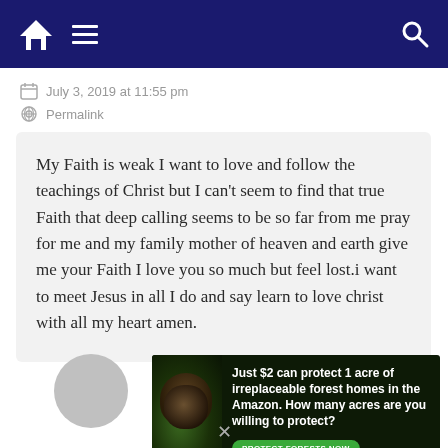Navigation bar with home, menu, and search icons
July 3, 2019 at 11:55 pm
Permalink
My Faith is weak I want to love and follow the teachings of Christ but I can't seem to find that true Faith that deep calling seems to be so far from me pray for me and my family mother of heaven and earth give me your Faith I love you so much but feel lost.i want to meet Jesus in all I do and say learn to love christ with all my heart amen.
[Figure (photo): Advertisement banner: forest/Amazon conservation ad with a primate image and text 'Just $2 can protect 1 acre of irreplaceable forest homes in the Amazon. How many acres are you willing to protect?' with a green 'PROTECT FORESTS NOW' button]